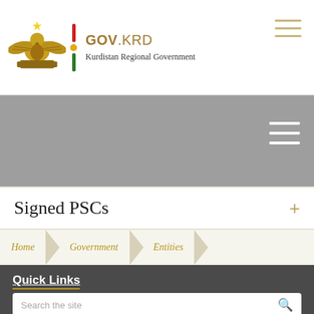GOV.KRD Kurdistan Regional Government
[Figure (screenshot): Grey banner section with hamburger menu icon]
Signed PSCs
Home > Government > Entities
Quick Links
Search the site
– The Parliament   – The President